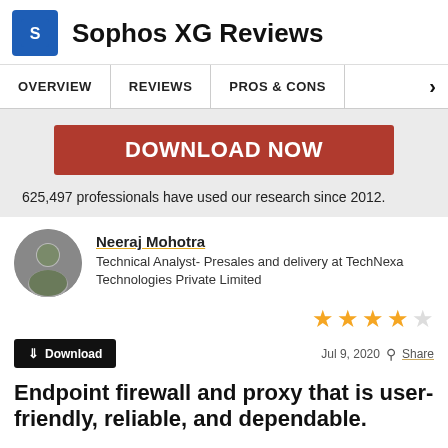Sophos XG Reviews
OVERVIEW | REVIEWS | PROS & CONS
[Figure (infographic): Red Download Now button banner with text: 625,497 professionals have used our research since 2012.]
625,497 professionals have used our research since 2012.
Neeraj Mohotra
Technical Analyst- Presales and delivery at TechNexa Technologies Private Limited
★★★★☆  Jul 9, 2020   Share
Download
Endpoint firewall and proxy that is user-friendly, reliable, and dependable.